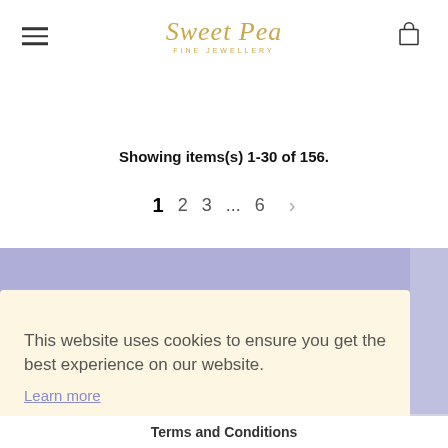Sweet Pea FINE JEWELLERY
Showing items(s) 1-30 of 156.
1 2 3 ... 6 >
This website uses cookies to ensure you get the best experience on our website.
Learn more
Got it!
Terms and Conditions